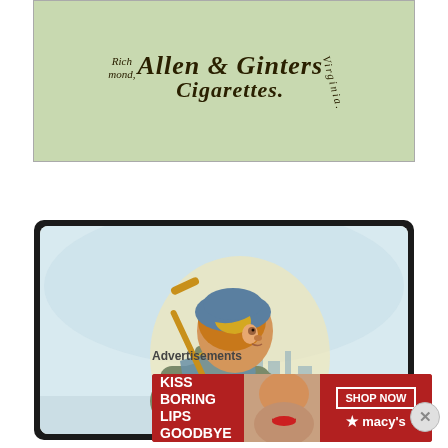[Figure (photo): Vintage Allen & Ginter's Cigarettes card top — green label with ornate text reading 'Allen & Ginter's Cigarettes. Richmond, Virginia.']
[Figure (illustration): Victorian-era cigarette card illustration of a young child wearing a blue cap with yellow ribbon and a grey coat, carrying a hockey stick over the shoulder. City skyline silhouette in cool blue background.]
Advertisements
[Figure (photo): Macy's advertisement banner with red background. Left side shows a woman's face with red lips. Text reads 'KISS BORING LIPS GOODBYE' with a 'SHOP NOW' button and Macy's star logo on the right.]